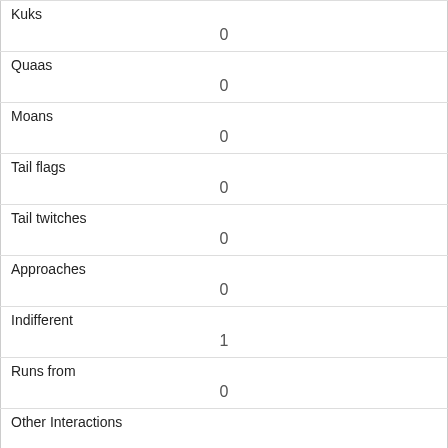| Kuks | 0 |
| Quaas | 0 |
| Moans | 0 |
| Tail flags | 0 |
| Tail twitches | 0 |
| Approaches | 0 |
| Indifferent | 1 |
| Runs from | 0 |
| Other Interactions |  |
| Lat/Long | POINT (-73.953296595236 40.7927644594513) |